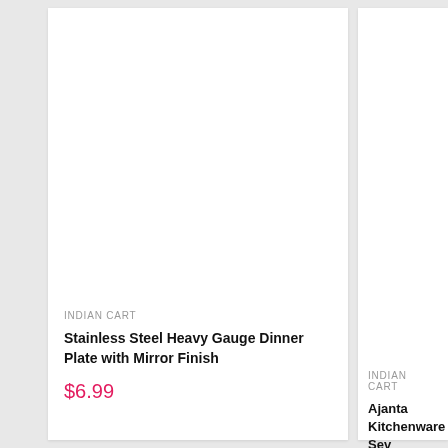INDIAN CART
Stainless Steel Heavy Gauge Dinner Plate with Mirror Finish
$6.99
INDIAN CART
Ajanta Kitchenware Sev Sancha Size: No
$14.99